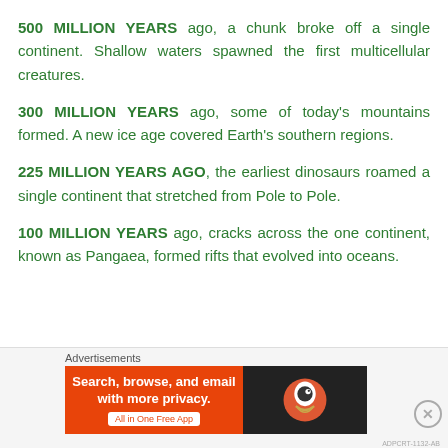500 MILLION YEARS ago, a chunk broke off a single continent. Shallow waters spawned the first multicellular creatures.
300 MILLION YEARS ago, some of today's mountains formed. A new ice age covered Earth's southern regions.
225 MILLION YEARS AGO, the earliest dinosaurs roamed a single continent that stretched from Pole to Pole.
100 MILLION YEARS ago, cracks across the one continent, known as Pangaea, formed rifts that evolved into oceans.
Advertisements
[Figure (screenshot): DuckDuckGo advertisement banner with orange background, text 'Search, browse, and email with more privacy. All in One Free App' and DuckDuckGo logo on dark background]